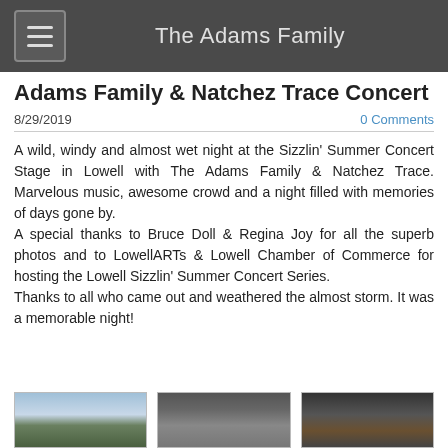The Adams Family
Adams Family & Natchez Trace Concert
8/29/2019
0 Comments
A wild, windy and almost wet night at the Sizzlin' Summer Concert Stage in Lowell with The Adams Family & Natchez Trace. Marvelous music, awesome crowd and a night filled with memories of days gone by.
A special thanks to Bruce Doll & Regina Joy for all the superb photos and to LowellARTs & Lowell Chamber of Commerce for hosting the Lowell Sizzlin' Summer Concert Series.
Thanks to all who came out and weathered the almost storm. It was a memorable night!
[Figure (photo): Outdoor sky and treeline photo]
[Figure (photo): Concert stage ceiling/structure photo]
[Figure (photo): Dark indoor concert photo]